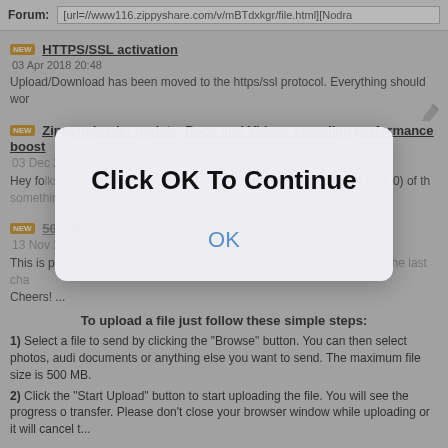Forum: [url=//www116.zippyshare.com/v/mBTdxkgr/file.html][Nodra
HTTPS/SSL activation
03 Apr 2018 20:48
Upload/Download has been moved to the https/ssl protocol. Everything should wor
Zippyuploader update, Docs and Videos encoding performance boost
03 Dec 2017 22:31
Hey fo... Today a new version (0.0.16.0) of th... something ...
500MB - we just increased the file size limit!
13 Nov 2017 06:08
This is probably a long-awaited update, but I assure you that this is not the last cha... Cheers! ...
[Figure (screenshot): Modal dialog box with text 'Click OK To Continue' and an OK button]
To upload a file just follow these simple steps:
1) Select a file to send by clicking the "Browse" button. You can then select photos, aud... documents or anything else you want to send. The maximum file size is 500 MB.
2) Click the "Start Upload" button to start uploading the file. You will see the progress o... transfer. Please don't close your browser window while uploading or it will cancel t...